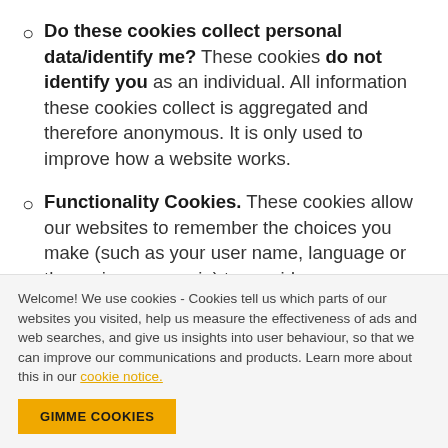Do these cookies collect personal data/identify me? These cookies do not identify you as an individual. All information these cookies collect is aggregated and therefore anonymous. It is only used to improve how a website works.
Functionality Cookies. These cookies allow our websites to remember the choices you make (such as your user name, language or the region you are in) to provide a more personalised online experience. These
Welcome! We use cookies - Cookies tell us which parts of our websites you visited, help us measure the effectiveness of ads and web searches, and give us insights into user behaviour, so that we can improve our communications and products. Learn more about this in our cookie notice.